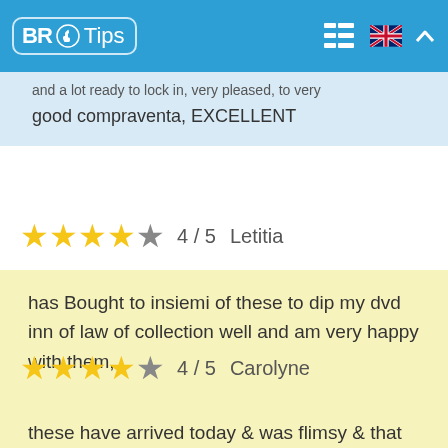BR Tips
and a lot ready to lock in, very pleased, to very good compraventa, EXCELLENT
★★★★☆ 4 / 5  Letitia
has Bought to insiemi of these to dip my dvd inn of law of collection well and am very happy with them,
★★★★☆ 4 / 5  Carolyne
these have arrived today & was flimsy & that slips